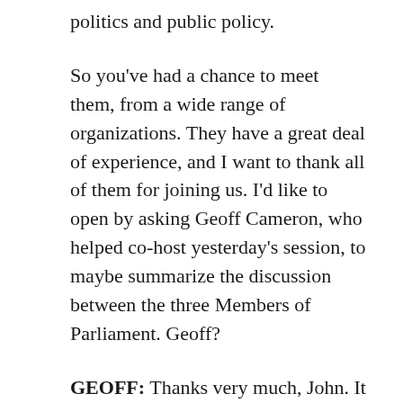politics and public policy.
So you've had a chance to meet them, from a wide range of organizations. They have a great deal of experience, and I want to thank all of them for joining us. I'd like to open by asking Geoff Cameron, who helped co-host yesterday's session, to maybe summarize the discussion between the three Members of Parliament. Geoff?
GEOFF: Thanks very much, John. It was a very stimulating discussion between three Members of Parliament. I think they spoke at both a very personal level and with a great deal of honesty about how they saw the role of religion in their own lives as public servants, public officials, and